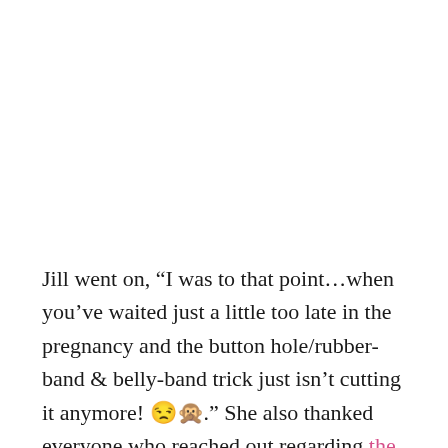Jill went on, “I was to that point…when you’ve waited just a little too late in the pregnancy and the button hole/rubber-band & belly-band trick just isn’t cutting it anymore! 😒🙊.” She also thanked everyone who reached out regarding the tornado that struck near Jill and Derick’s home in Arkansas. “It did hit the next